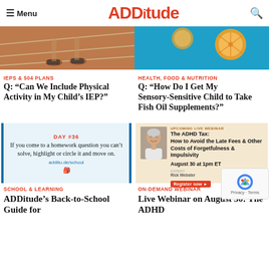Menu | ADDitude | Search
[Figure (photo): Child's feet on a running track with white lane lines]
IEPS & 504 PLANS
Q: “Can We Include Physical Activity in My Child’s IEP?”
[Figure (photo): Orange slices on a blue background, representing food/nutrition]
HEALTH, FOOD & NUTRITION
Q: “How Do I Get My Sensory-Sensitive Child to Take Fish Oil Supplements?”
[Figure (infographic): DAY #36 tip card: If you come to a homework question you can’t solve, highlight or circle it and move on. additu.de/school]
[Figure (infographic): UPCOMING LIVE WEBINAR: The ADHD Tax: How to Avoid the Late Fees & Other Costs of Forgetfulness & Impulsivity. August 30 at 1pm ET. Expert Rick Webster. Register now button.]
SCHOOL & LEARNING
ADDitude’s Back-to-School Guide for
ON-DEMAND WEBINAR
Live Webinar on August 30: The ADHD